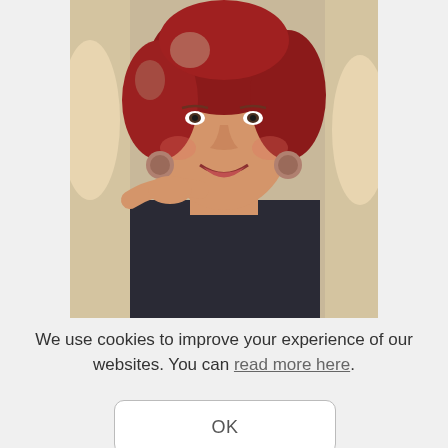[Figure (photo): A woman with red/auburn hair and dangling earrings wearing a dark top, smiling, photographed from roughly chest up. Another person's arm/hand is visible on her shoulder.]
We use cookies to improve your experience of our websites. You can read more here.
OK